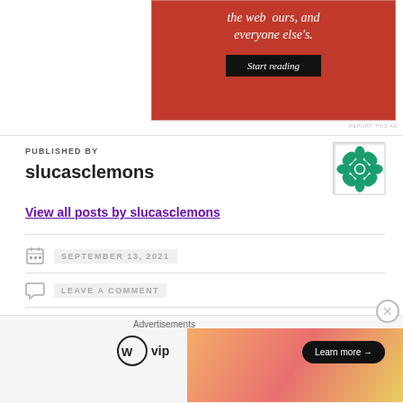[Figure (other): Red advertisement banner with italic white text 'the web ours, and everyone else's.' and a dark 'Start reading' button]
REPORT THIS AD
PUBLISHED BY
slucasclemons
[Figure (logo): Green decorative geometric/floral tile pattern avatar icon with white background and border]
View all posts by slucasclemons
SEPTEMBER 13, 2021
LEAVE A COMMENT
CLEMSON FOOTBALL · GEORGIA TECH YELLOW JACKETS
[Figure (other): Bottom advertisement overlay with WordPress VIP logo, colorful gradient ad banner with 'Learn more' button and close X button]